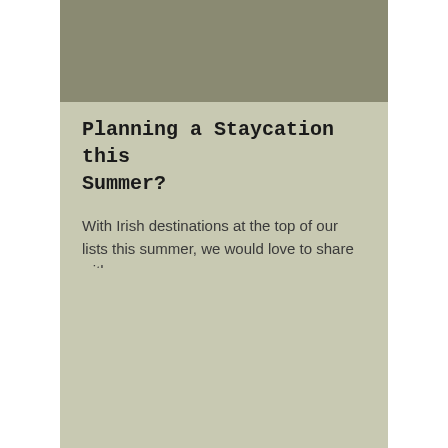[Figure (photo): Gray-green muted image area at top of card]
Planning a Staycation this Summer?
With Irish destinations at the top of our lists this summer, we would love to share with you some our ...
Read More →
[Figure (photo): Second card image area at bottom, light beige-green color block]